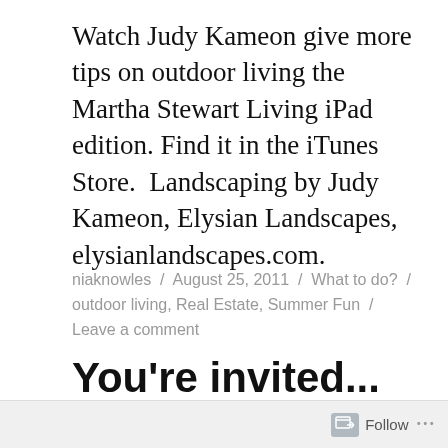Watch Judy Kameon give more tips on outdoor living the Martha Stewart Living iPad edition. Find it in the iTunes Store.  Landscaping by Judy Kameon, Elysian Landscapes, elysianlandscapes.com.
niaknowles / August 25, 2011 / What to do? / outdoor living, Real Estate, Summer Fun / Leave a comment
You're invited...
West End Front Porch Night